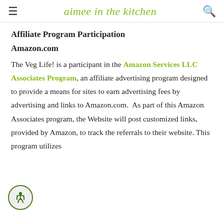aimee in the kitchen
Affiliate Program Participation
Amazon.com
The Veg Life! is a participant in the Amazon Services LLC Associates Program, an affiliate advertising program designed to provide a means for sites to earn advertising fees by advertising and links to Amazon.com.  As part of this Amazon Associates program, the Website will post customized links, provided by Amazon, to track the referrals to their website. This program utilizes